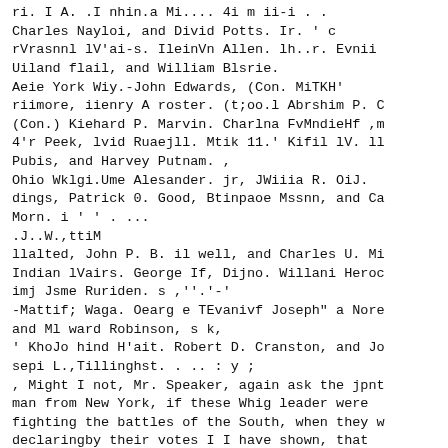ri. I A. .I nhin.a Mi.... 4i m ii-i . .
Charles Nayloi, and Divid Potts. Ir. ' c
rVrasnnl lV'ai-s. IleinVn Allen. lh..r. Evnii
Uiland flail, and William Blsrie.
Aeie York Wiy.-John Edwards, (Con. MiTKH'
riimore, iienry A roster. (t;oo.l Abrshim P. C
(Con.) Kiehard P. Marvin. Charlna FvMndieHf ,m
4'r Peek, lvid Ruaejll. Mtik 11.' Kifil lV. ll
Pubis, and Harvey Putnam. ,
Ohio Wklgi.Ume Alesander. jr, JWiiia R. OiJ.
dings, Patrick 0. Good, Btinpaoe Mssnn, and Ca
Morn. i ' ' . ...
.J..W.,ttiM
llalted, John P. B. il well, and Charles U. Mi
Indian lVairs. George If, Dijno. Willani Heroc
imj Jsme Ruriden. s ,''.'‑'
-Mattif; Waga. Oearg e TEvanivf Joseph" a Nore
and Ml ward Robinson, s k,
' KhoJo hind H'ait. Robert D. Cranston, and Jo
sepi L.,Tillinghst. . .. : y ;
, Might I not, Mr. Speaker, again ask the jpnt
man from New York, if these Whig leader were
fighting the battles of the South, when they w
declaringby their votes I I have shown, that
they believe Congress bat the power to Icsials